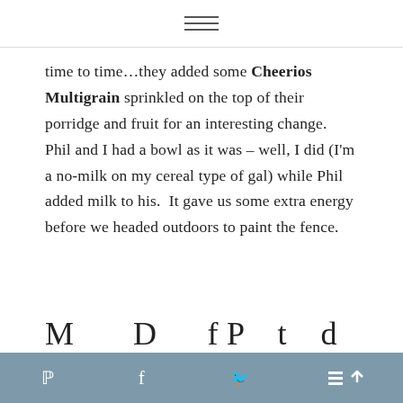time to time…they added some Cheerios Multigrain sprinkled on the top of their porridge and fruit for an interesting change.  Phil and I had a bowl as it was – well, I did (I'm a no-milk on my cereal type of gal) while Phil added milk to his.  It gave us some extra energy before we headed outdoors to paint the fence.